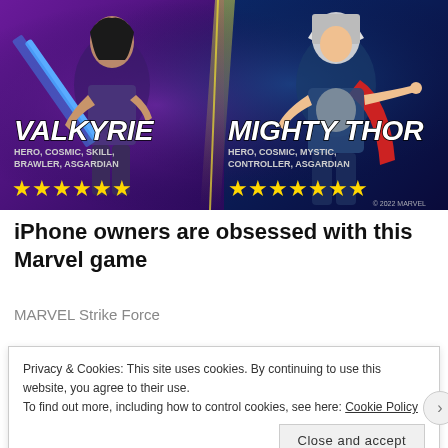[Figure (illustration): Marvel Strike Force game promotional banner showing two characters: Valkyrie (left) with blue sword, tagged as Hero, Cosmic, Skill, Brawler, Asgardian with 6 gold stars; and Mighty Thor (right) tagged as Hero, Cosmic, Mystic, Controller, Asgardian with 7 gold stars, on a dark purple/blue gradient background]
iPhone owners are obsessed with this Marvel game
MARVEL Strike Force
Privacy & Cookies: This site uses cookies. By continuing to use this website, you agree to their use.
To find out more, including how to control cookies, see here: Cookie Policy
Close and accept